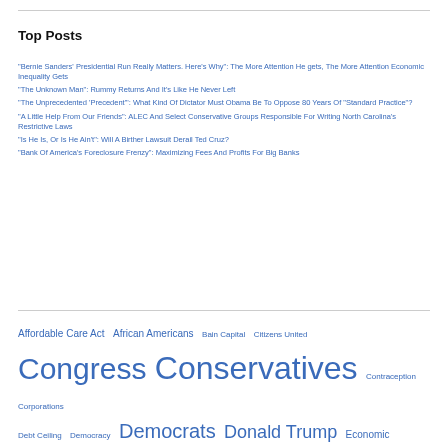Top Posts
"Bernie Sanders' Presidential Run Really Matters. Here's Why": The More Attention He gets, The More Attention Economic Inequality Gets
"The Unknown Man": Rummy Returns And It's Like He Never Left
"The Unprecedented 'Precedent'": What Kind Of Dictator Must Obama Be To Oppose 80 Years Of "Standard Practice"?
"A Little Help From Our Friends": ALEC And Select Conservative Groups Responsible For Writing North Carolina's Restrictive Laws
"Is He Is, Or Is He Ain't": Will A Birther Lawsuit Derail Ted Cruz?
"Bank Of America's Foreclosure Frenzy": Maximizing Fees And Profits For Big Banks
Affordable Care Act  African Americans  Bain Capital  Citizens United  Congress  Conservatives  Contraception  Corporations  Debt Ceiling  Democracy  Democrats  Donald Trump  Economic inequality